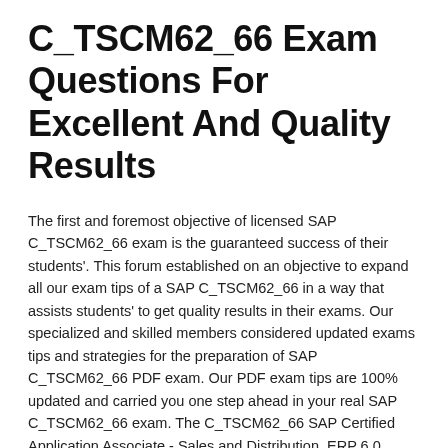C_TSCM62_66 Exam Questions For Excellent And Quality Results
The first and foremost objective of licensed SAP C_TSCM62_66 exam is the guaranteed success of their students'. This forum established on an objective to expand all our exam tips of a SAP C_TSCM62_66 in a way that assists students' to get quality results in their exams. Our specialized and skilled members considered updated exams tips and strategies for the preparation of SAP C_TSCM62_66 PDF exam. Our PDF exam tips are 100% updated and carried you one step ahead in your real SAP C_TSCM62_66 exam. The C_TSCM62_66 SAP Certified Application Associate - Sales and Distribution, ERP 6.0 EhP6 PDF solved questions would prove to be the significant and fundamental source of learning for your certification in reasonable price.
Get Attractive And Pleasing Results In C_TSCM62_66 Exam Tips